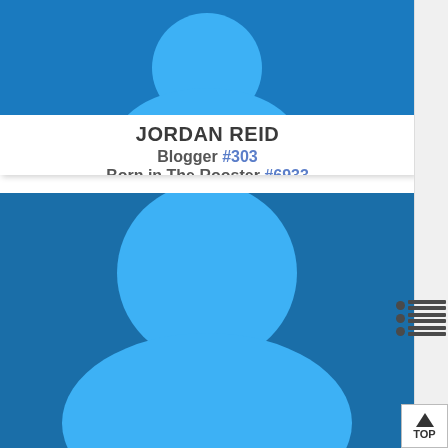[Figure (illustration): Top user avatar placeholder with blue background and lighter blue silhouette of a person]
JORDAN REID
Blogger #303
Born in The Rooster #6933
[Figure (illustration): Large user avatar placeholder with dark blue background and lighter blue silhouette of a person, with hamburger menu icons and TOP button on the right]